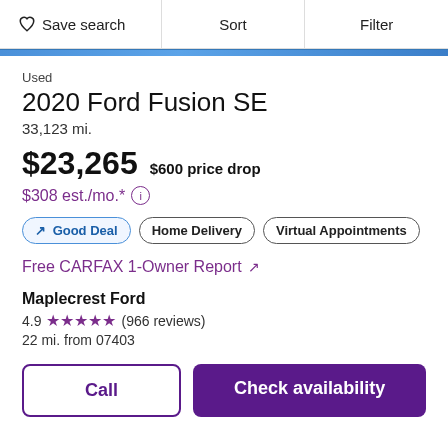Save search  Sort  Filter
Used
2020 Ford Fusion SE
33,123 mi.
$23,265  $600 price drop
$308 est./mo.*
Good Deal  Home Delivery  Virtual Appointments
Free CARFAX 1-Owner Report ↗
Maplecrest Ford
4.9 ★★★★★ (966 reviews)
22 mi. from 07403
Call  Check availability